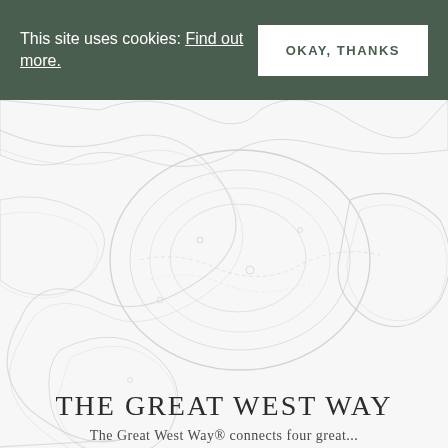This site uses cookies: Find out more.
OKAY, THANKS
[Figure (map): Faint topographic/contour map background showing the Great West Way route area in very light grey lines on white/light grey background]
THE GREAT WEST WAY
The Great West Way® connects four great...